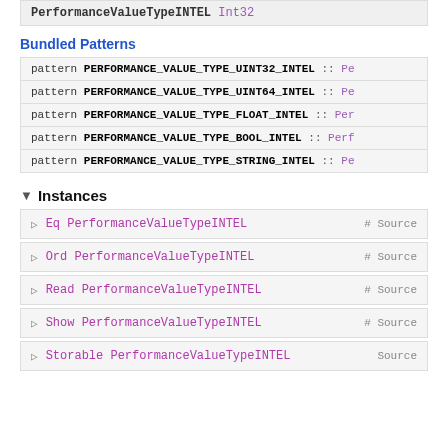PerformanceValueTypeINTEL  Int32
Bundled Patterns
pattern PERFORMANCE_VALUE_TYPE_UINT32_INTEL :: Pe
pattern PERFORMANCE_VALUE_TYPE_UINT64_INTEL :: Pe
pattern PERFORMANCE_VALUE_TYPE_FLOAT_INTEL :: Per
pattern PERFORMANCE_VALUE_TYPE_BOOL_INTEL :: Perf
pattern PERFORMANCE_VALUE_TYPE_STRING_INTEL :: Pe
▼ Instances
▷ Eq PerformanceValueTypeINTEL # Source
▷ Ord PerformanceValueTypeINTEL # Source
▷ Read PerformanceValueTypeINTEL # Source
▷ Show PerformanceValueTypeINTEL # Source
▷ Storable PerformanceValueTypeINTEL Source